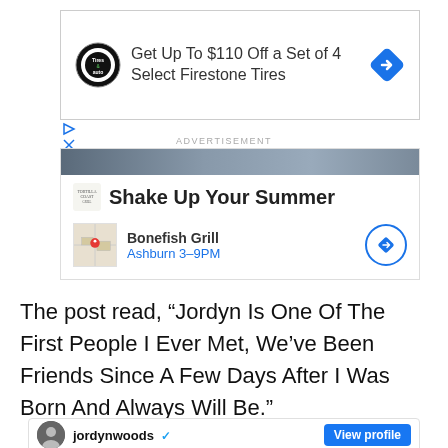[Figure (screenshot): Advertisement banner for Firestone Tires: 'Get Up To $110 Off a Set of 4 Select Firestone Tires' with Firestone Auto logo and blue diamond arrow icon]
ADVERTISEMENT
[Figure (screenshot): Advertisement for Bonefish Grill: 'Shake Up Your Summer' with logo, map thumbnail, location 'Bonefish Grill Ashburn 3-9PM' and blue circle arrow button]
The post read, “Jordyn Is One Of The First People I Ever Met, We’ve Been Friends Since A Few Days After I Was Born And Always Will Be.”
[Figure (screenshot): Instagram profile card for jordynwoods with verified checkmark and 'View profile' blue button]